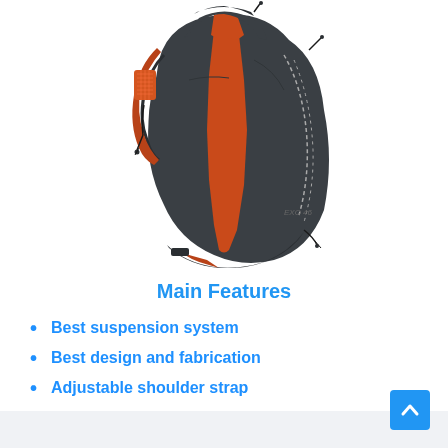[Figure (photo): A dark grey and orange hiking backpack (Osprey Exos 46) shown from the back/side angle on a white background, displaying the suspension system, shoulder straps with orange mesh, and reflective details.]
Main Features
Best suspension system
Best design and fabrication
Adjustable shoulder strap